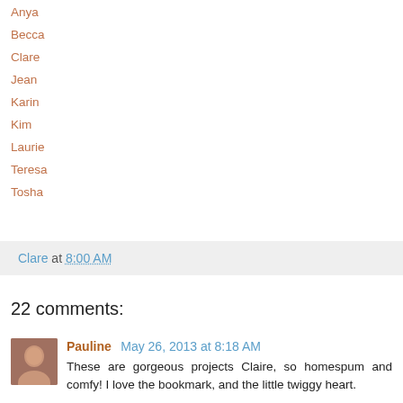Anya
Becca
Clare
Jean
Karin
Kim
Laurie
Teresa
Tosha
Clare at 8:00 AM
22 comments:
Pauline May 26, 2013 at 8:18 AM
These are gorgeous projects Claire, so homespum and comfy! I love the bookmark, and the little twiggy heart.